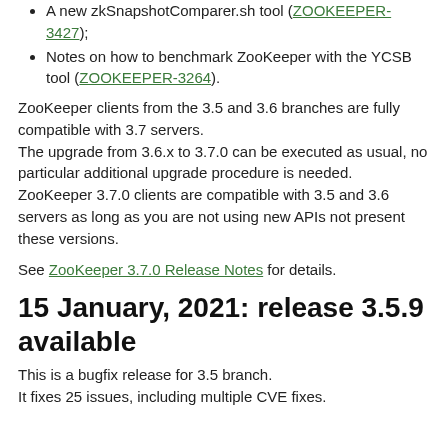A new zkSnapshotComparer.sh tool (ZOOKEEPER-3427);
Notes on how to benchmark ZooKeeper with the YCSB tool (ZOOKEEPER-3264).
ZooKeeper clients from the 3.5 and 3.6 branches are fully compatible with 3.7 servers.
The upgrade from 3.6.x to 3.7.0 can be executed as usual, no particular additional upgrade procedure is needed.
ZooKeeper 3.7.0 clients are compatible with 3.5 and 3.6 servers as long as you are not using new APIs not present these versions.
See ZooKeeper 3.7.0 Release Notes for details.
15 January, 2021: release 3.5.9 available
This is a bugfix release for 3.5 branch.
It fixes 25 issues, including multiple CVE fixes.